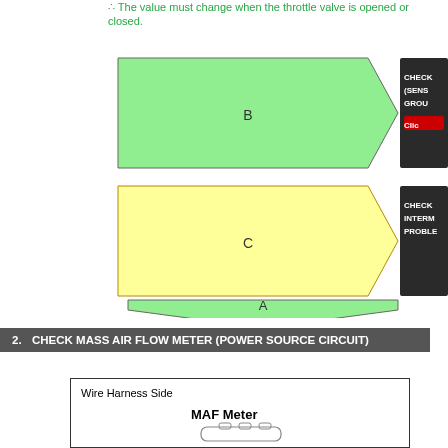The value must change when the throttle valve is opened or closed.
[Figure (flowchart): Flowchart with three shapes: B (green pentagon/arrow shape pointing right), C (yellow pentagon/arrow shape pointing right), and A (green downward-pointing chevron). B and C have associated black boxes on the right with text (partially cut off): B -> CHECK (SENS GROUP Clic...), C -> CHECK INTERM PROBLE...]
2. CHECK MASS AIR FLOW METER (POWER SOURCE CIRCUIT)
[Figure (engineering-diagram): Wire Harness Side diagram showing MAF Meter with connector illustration]